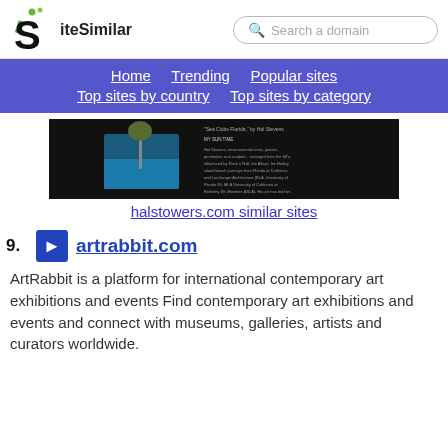SiteSimilar | Search a domain
Home | Trending | Popular sites | Top sites by country | Top sites by category
[Figure (screenshot): Screenshot of halstowers.com website showing a dark background with a photo of a tropical scene and text about Hal Stevens]
halstowers.com similar sites
19. artrabbit.com
ArtRabbit is a platform for international contemporary art exhibitions and events Find contemporary art exhibitions and events and connect with museums, galleries, artists and curators worldwide.